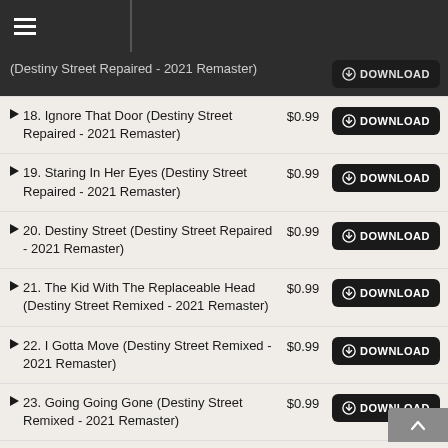Music download store header
(Destiny Street Repaired - 2021 Remaster)  $0.99  DOWNLOAD
18. Ignore That Door (Destiny Street Repaired - 2021 Remaster)  $0.99  DOWNLOAD
19. Staring In Her Eyes (Destiny Street Repaired - 2021 Remaster)  $0.99  DOWNLOAD
20. Destiny Street (Destiny Street Repaired - 2021 Remaster)  $0.99  DOWNLOAD
21. The Kid With The Replaceable Head (Destiny Street Remixed - 2021 Remaster)  $0.99  DOWNLOAD
22. I Gotta Move (Destiny Street Remixed - 2021 Remaster)  $0.99  DOWNLOAD
23. Going Going Gone (Destiny Street Remixed - 2021 Remaster)  $0.99  DOWNLOAD
24. Lowest Common Dominator  $0.99  DOWNLOAD